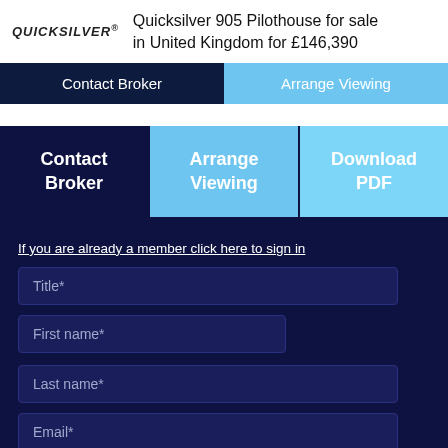QUICKSILVER® Quicksilver 905 Pilothouse for sale in United Kingdom for £146,390
Contact Broker
Arrange Viewing
Contact Broker
Arrange Viewing
Download PDF
If you are already a member click here to sign in
Title*
First name*
Last name*
Email*